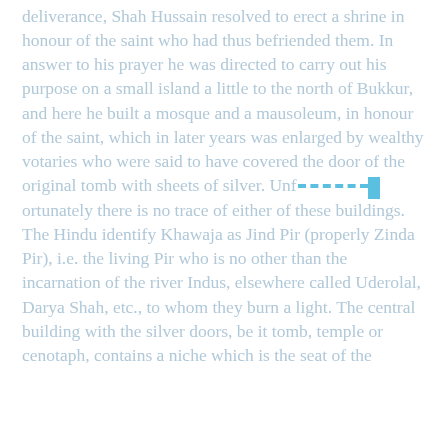deliverance, Shah Hussain resolved to erect a shrine in honour of the saint who had thus befriended them. In answer to his prayer he was directed to carry out his purpose on a small island a little to the north of Bukkur, and here he built a mosque and a mausoleum, in honour of the saint, which in later years was enlarged by wealthy votaries who were said to have covered the door of the original tomb with sheets of silver. Unfortunately there is no trace of either of these buildings. The Hindu identify Khawaja as Jind Pir (properly Zinda Pir), i.e. the living Pir who is no other than the incarnation of the river Indus, elsewhere called Uderolal, Darya Shah, etc., to whom they burn a light. The central building with the silver doors, be it tomb, temple or cenotaph, contains a niche which is the seat of the